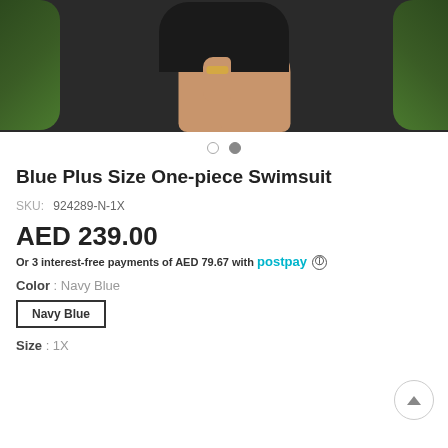[Figure (photo): Product photo of a model wearing a black one-piece swimsuit, shown from waist down, with green foliage in the background. Model wears a gold bracelet.]
Blue Plus Size One-piece Swimsuit
SKU: 924289-N-1X
AED 239.00
Or 3 interest-free payments of AED 79.67 with postpay ⓘ
Color : Navy Blue
Navy Blue
Size : 1X